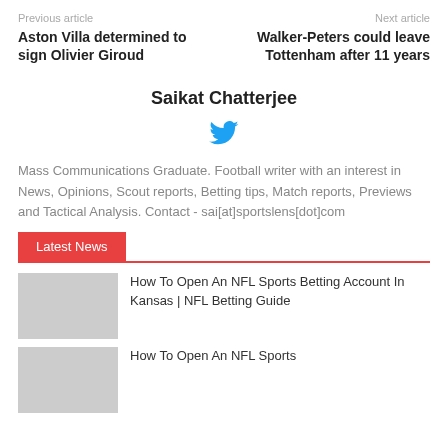Previous article    Next article
Aston Villa determined to sign Olivier Giroud
Walker-Peters could leave Tottenham after 11 years
Saikat Chatterjee
[Figure (illustration): Twitter bird icon in blue]
Mass Communications Graduate. Football writer with an interest in News, Opinions, Scout reports, Betting tips, Match reports, Previews and Tactical Analysis. Contact - sai[at]sportslens[dot]com
Latest News
How To Open An NFL Sports Betting Account In Kansas | NFL Betting Guide
How To Open An NFL Sports